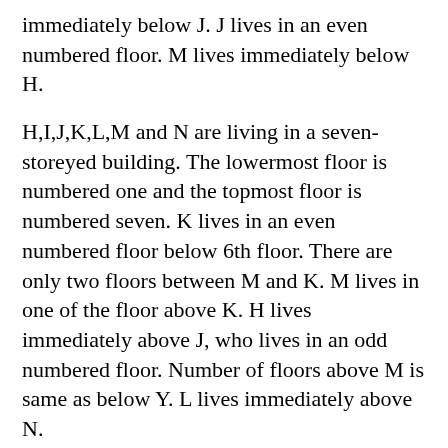immediately below J. J lives in an even numbered floor. M lives immediately below H.
H,I,J,K,L,M and N are living in a seven-storeyed building. The lowermost floor is numbered one and the topmost floor is numbered seven. K lives in an even numbered floor below 6th floor. There are only two floors between M and K. M lives in one of the floor above K. H lives immediately above J, who lives in an odd numbered floor. Number of floors above M is same as below Y. L lives immediately above N.
Seating Arrangement:
Seven persons A,B,D,E,F,G and H are sitting in a straight line facing north. G sits immediate to the right of D. B sits second to the right of H. More than three persons sits between G and F. B and F are sitting immediately neighbour. F is not at